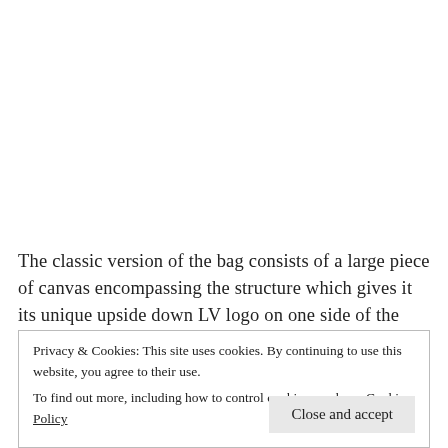The classic version of the bag consists of a large piece of canvas encompassing the structure which gives it its unique upside down LV logo on one side of the bag. 2 other pieces
Privacy & Cookies: This site uses cookies. By continuing to use this website, you agree to their use.
To find out more, including how to control cookies, see here: Cookie Policy
Close and accept